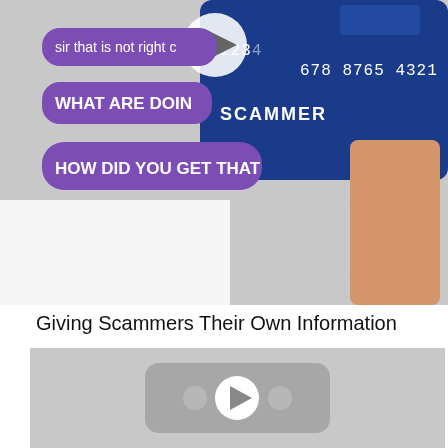[Figure (screenshot): Video thumbnail showing a blue credit card with number 1234 5678 8765 4321 labeled SCAMMER, held by a hand. Purple chat bubbles read: 'sir that is not right c...', 'WHAT ARE DOIN...', 'HOW DID YOU GET THAT'. A white play button circle is visible at top center.]
Giving Scammers Their Own Information
[Figure (screenshot): Gray video player placeholder with a YouTube-style rounded rectangle icon and a white play button circle in the center, with two small circular elements on either side.]